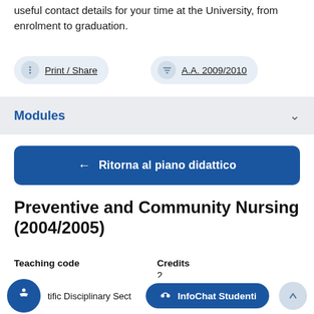useful contact details for your time at the University, from enrolment to graduation.
Print / Share
A.A. 2009/2010
Modules
← Ritorna al piano didattico
Preventive and Community Nursing (2004/2005)
Teaching code
Credits
2
tific Disciplinary Sect
InfoChat Studenti